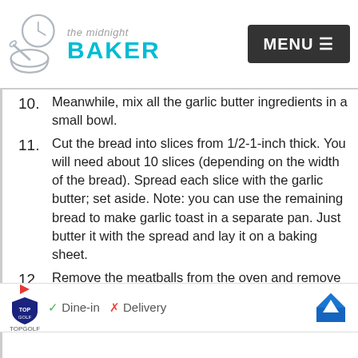The Midnight Baker — MENU
10. Meanwhile, mix all the garlic butter ingredients in a small bowl.
11. Cut the bread into slices from 1/2-1-inch thick. You will need about 10 slices (depending on the width of the bread). Spread each slice with the garlic butter; set aside. Note: you can use the remaining bread to make garlic toast in a separate pan. Just butter it with the spread and lay it on a baking sheet.
12. Remove the meatballs from the oven and remove the foil. Place the buttered bread slices around the perimeter of the pan
[Figure (other): Advertisement banner for TopGolf showing Dine-in and Delivery options with a navigation arrow icon]